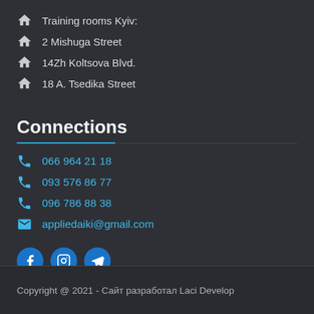Training rooms Kyiv:
2 Mishuga Street
14Zh Koltsova Blvd.
18 A. Tsedika Street
Connections
066 964 21 18
093 576 86 77
096 786 88 38
appliedaiki@gmail.com
[Figure (infographic): Social media icons: Facebook, Instagram, Telegram]
Copyright @ 2021 - Сайт разработал Laci Develop